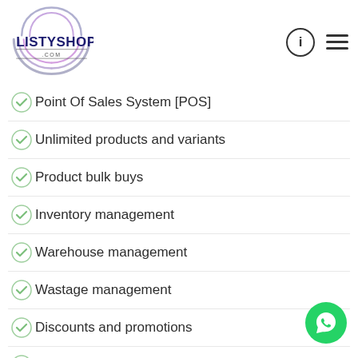[Figure (logo): LISTYSHOP.COM logo with concentric arc design in blue and purple]
Point Of Sales System [POS]
Unlimited products and variants
Product bulk buys
Inventory management
Warehouse management
Wastage management
Discounts and promotions
Abandoned cart recovery
Barcode management